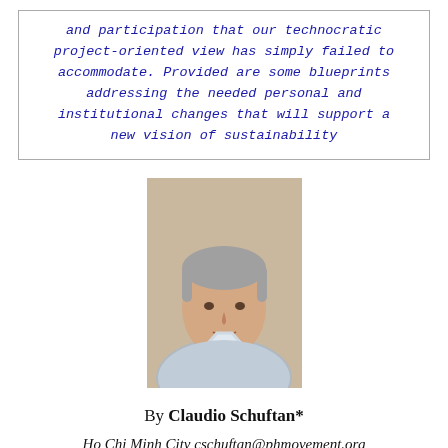and participation that our technocratic project-oriented view has simply failed to accommodate. Provided are some blueprints addressing the needed personal and institutional changes that will support a new vision of sustainability
[Figure (photo): Headshot photograph of Claudio Schuftan, an older man with grey hair, wearing a light-colored jacket, smiling slightly.]
By Claudio Schuftan*
Ho Chi Minh City cschuftan@phmovement.org
Yes, Resilience and Sustainability Are Too